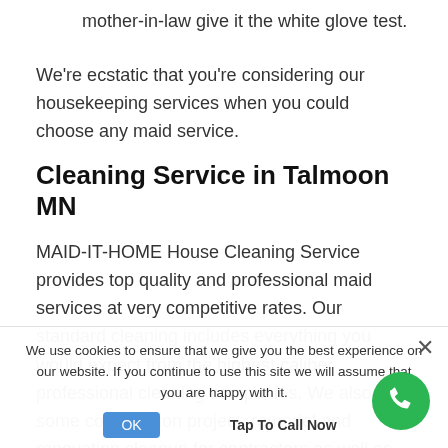mother-in-law give it the white glove test.
We're ecstatic that you're considering our housekeeping services when you could choose any maid service.
Cleaning Service in Talmoon MN
MAID-IT-HOME House Cleaning Service provides top quality and professional maid services at very competitive rates. Our standard cleaning includes everything you would expect from the highest caliber professional cleaning companies. We also do some construction project, remodel and renovation cleanup for contractors as well as post construction clean up for homeowners. Concentrating on customer satisfaction and quality is our primary concern. Our housekeepers make housecleaning a pleasant experience for our clients
We use cookies to ensure that we give you the best experience on our website. If you continue to use this site we will assume that you are happy with it.
OK
Tap To Call Now